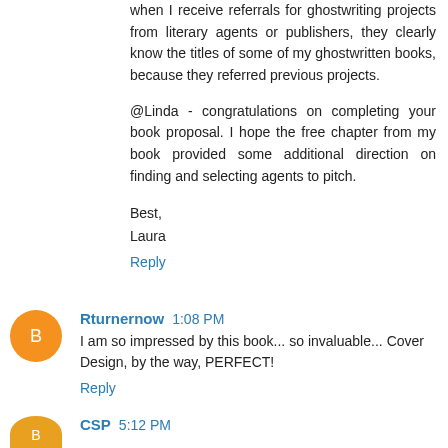when I receive referrals for ghostwriting projects from literary agents or publishers, they clearly know the titles of some of my ghostwritten books, because they referred previous projects.
@Linda - congratulations on completing your book proposal. I hope the free chapter from my book provided some additional direction on finding and selecting agents to pitch.
Best,
Laura
Reply
Rturnernow  1:08 PM
I am so impressed by this book... so invaluable... Cover Design, by the way, PERFECT!
Reply
CSP  5:12 PM